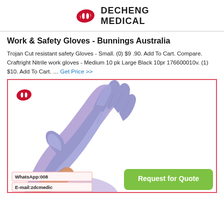DECHENG MEDICAL
Work & Safety Gloves - Bunnings Australia
Trojan Cut resistant safety Gloves - Small. (0) $9 .90. Add To Cart. Compare. Craftright Nitrile work gloves - Medium 10 pk Large Black 10pr 176600010v. (1) $10. Add To Cart. … Get Price >>
[Figure (photo): A purple/lavender nitrile examination glove being worn on a hand and arm, shown against a white background inside a red-bordered box. The Decheng Medical logo appears in the top-left of the image. Contact labels (WhatsApp and E-mail) appear at the bottom left, and a green 'Request for Quote' button at the bottom right.]